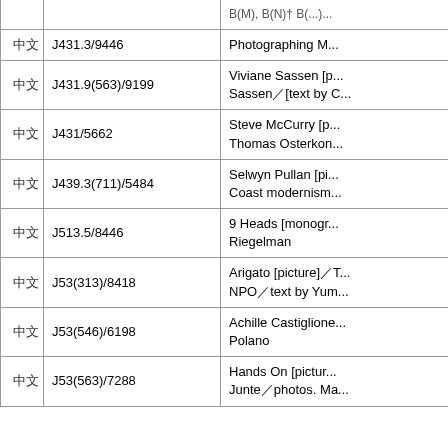|  | Call Number | Title |
| --- | --- | --- |
| 中文 | J431.3/9446 | Photographing M... |
| 中文 | J431.9(563)/9199 | Viviane Sassen [... Sassen [text by C... |
| 中文 | J431/5662 | Steve McCurry [p... Thomas Osterkor... |
| 中文 | J439.3(711)/5484 | Selwyn Pullan [pi... Coast modernis... |
| 中文 | J513.5/8446 | 9 Heads [monogr... Riegelman |
| 中文 | J53(313)/8418 | Arigato [picture] ... NPO text by Yum... |
| 中文 | J53(546)/6198 | Achille Castiglio... Polano |
| 中文 | J53(563)/7288 | Hands On [pictur... Junte photos. M... |